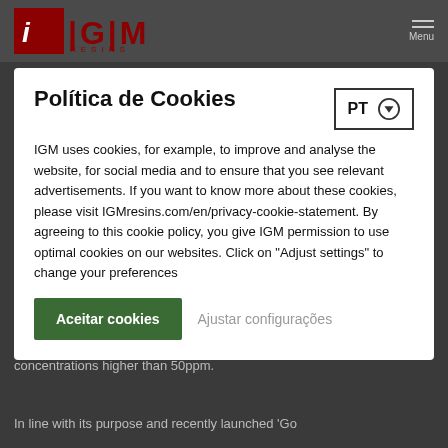[Figure (logo): IGM Resins logo with red square and stylized iGM text]
Política de Cookies
IGM uses cookies, for example, to improve and analyse the website, for social media and to ensure that you see relevant advertisements. If you want to know more about these cookies, please visit IGMresins.com/en/privacy-cookie-statement. By agreeing to this cookie policy, you give IGM permission to use optimal cookies on our websites. Click on "Adjust settings" to change your preferences
Aceitar cookies   Ajustar configurações
concentrations higher than 50ppm.
In line with its purpose and recently launched 'Go